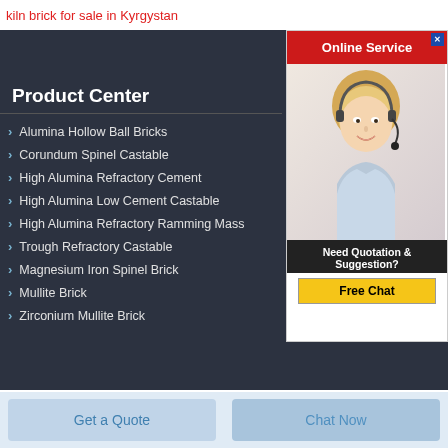kiln brick for sale in Kyrgystan
Product Center
Alumina Hollow Ball Bricks
Corundum Spinel Castable
High Alumina Refractory Cement
High Alumina Low Cement Castable
High Alumina Refractory Ramming Mass
Trough Refractory Castable
Magnesium Iron Spinel Brick
Mullite Brick
Zirconium Mullite Brick
[Figure (photo): Online Service widget with a female customer service agent wearing a headset, red header saying 'Online Service', text 'Need Quotation & Suggestion?' and a yellow 'Free Chat' button]
Get a Quote
Chat Now